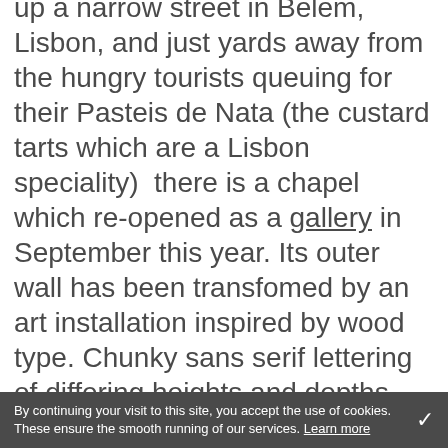up a narrow street in Belem, Lisbon, and just yards away from the hungry tourists queuing for their Pasteis de Nata (the custard tarts which are a Lisbon speciality)  there is a chapel which re-opened as a gallery in September this year. Its outer wall has been transfomed by an art installation inspired by wood type. Chunky sans serif lettering of differing heights and depths has been applied to the wall and then given a coating of bright white render. The bold capitals are stacked into arrangements vaguely reminiscent of Henrik Werkmann. The Chapel of the Immaculate Conception was dedicated in 1707. it survived
By continuing your visit to this site, you accept the use of cookies. These ensure the smooth running of our services. Learn more